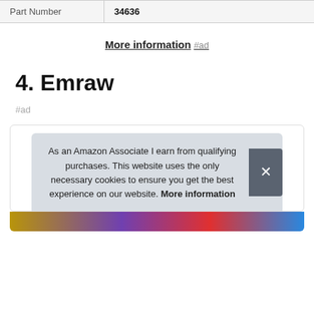| Part Number | 34636 |
| --- | --- |
More information #ad
4. Emraw
#ad
As an Amazon Associate I earn from qualifying purchases. This website uses the only necessary cookies to ensure you get the best experience on our website. More information
[Figure (photo): Product image strip at bottom of card]